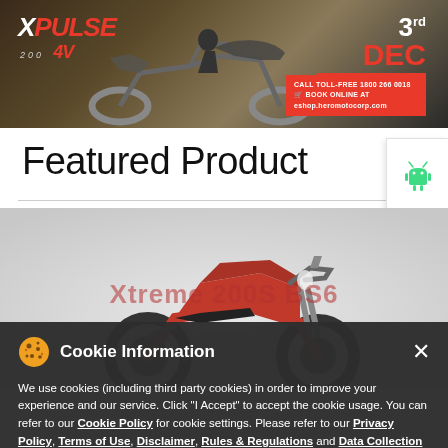[Figure (photo): Hero Xpulse 4V promotional banner with motorcycle dirt riding, date 3rd DEC, 12 AM ONWARDS, toll-free number and website booking link]
Featured Product
[Figure (photo): Android app download icon on white sidebar panel]
[Figure (photo): Apple app download icon on white sidebar panel]
[Figure (photo): Hero Xtreme 200S BS6 red motorcycle product image]
Xtreme 200S BS6
We use cookies (including third party cookies) in order to improve your experience and our service. Click "I Accept" to accept the cookie usage. You can refer to our Cookie Policy for cookie settings. Please refer to our Privacy Policy, Terms of Use, Disclaimer, Rules & Regulations and Data Collection Contract or more information on personal data usage.